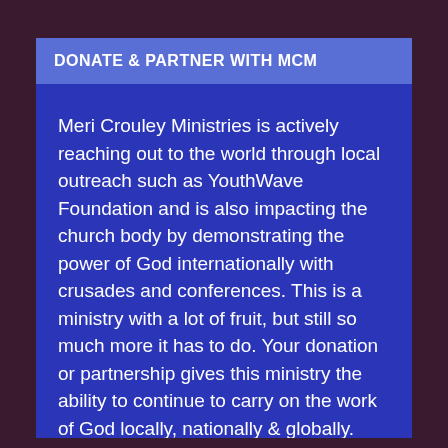DONATE & PARTNER WITH MCM
Meri Crouley Ministries is actively reaching out to the world through local outreach such as YouthWave Foundation and is also impacting the church body by demonstrating the power of God internationally with crusades and conferences. This is a ministry with a lot of fruit, but still so much more it has to do. Your donation or partnership gives this ministry the ability to continue to carry on the work of God locally, nationally & globally. Please give today and let us know if God has th...